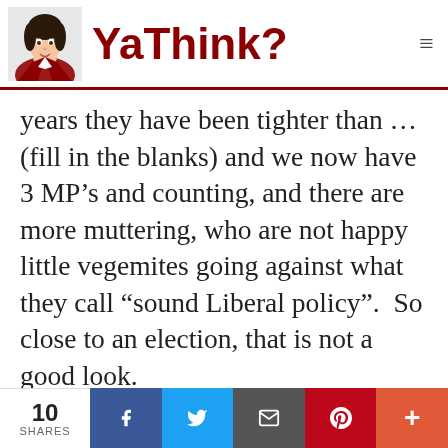YaThink?
years they have been tighter than … (fill in the blanks) and we now have 3 MP’s and counting, and there are more muttering, who are not happy little vegemites going against what they call “sound Liberal policy”.  So close to an election, that is not a good look.
Now I am not sure why Mr Abbott is staunchly defending his policy?  There
10 SHARES  [Facebook] [Twitter] [Email] [Pinterest] [+]